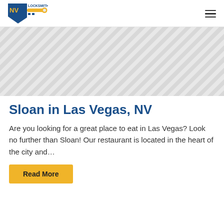NV Locksmith
[Figure (illustration): Diagonal striped placeholder image for a blog post about Sloan in Las Vegas, NV]
Sloan in Las Vegas, NV
Are you looking for a great place to eat in Las Vegas? Look no further than Sloan! Our restaurant is located in the heart of the city and…
Read More